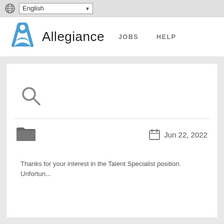English (language selector dropdown)
[Figure (logo): Allegiance logo with stylized blue letter A icon and text 'Allegiance', navigation links JOBS and HELP]
[Figure (other): Search icon (magnifying glass)]
Jun 22, 2022
Thanks for your interest in the Talent Specialist position. Unfortun...